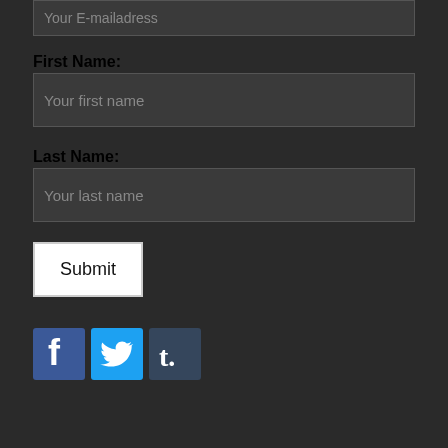Your E-mailadress
First Name:
Your first name
Last Name:
Your last name
Submit
[Figure (illustration): Social media icons: Facebook (blue with f), Twitter (light blue with bird), Tumblr (dark blue with t.)]